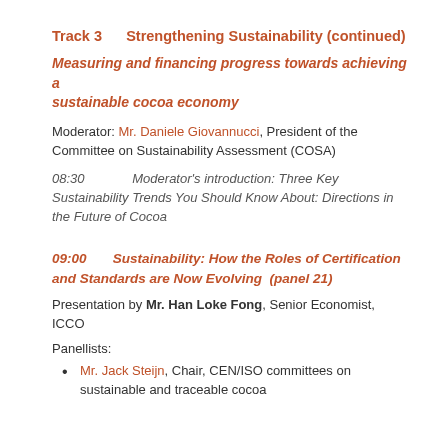Track 3    Strengthening Sustainability (continued)
Measuring and financing progress towards achieving a sustainable cocoa economy
Moderator: Mr. Daniele Giovannucci, President of the Committee on Sustainability Assessment (COSA)
08:30        Moderator's introduction: Three Key Sustainability Trends You Should Know About: Directions in the Future of Cocoa
09:00        Sustainability: How the Roles of Certification and Standards are Now Evolving  (panel 21)
Presentation by Mr. Han Loke Fong, Senior Economist, ICCO
Panellists:
Mr. Jack Steijn, Chair, CEN/ISO committees on sustainable and traceable cocoa